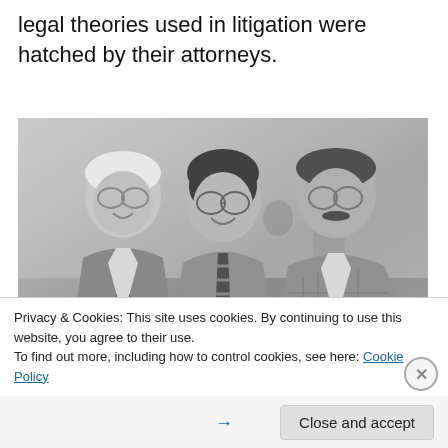legal theories used in litigation were hatched by their attorneys.
[Figure (photo): Black and white photograph of three men standing together and smiling at an indoor event. The man on the left is older with white/grey hair, wearing glasses and a suit with tie. The man in the middle is younger with dark curly hair and glasses, wearing a suit with striped tie. The man on the right has a mustache and glasses, wearing a plaid jacket with a bolo tie.]
Privacy & Cookies: This site uses cookies. By continuing to use this website, you agree to their use.
To find out more, including how to control cookies, see here: Cookie Policy